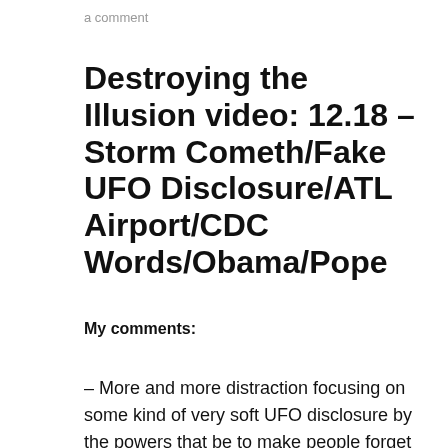a comment
Destroying the Illusion video: 12.18 – Storm Cometh/Fake UFO Disclosure/ATL Airport/CDC Words/Obama/Pope
My comments:
– More and more distraction focusing on some kind of very soft UFO disclosure by the powers that be to make people forget about their